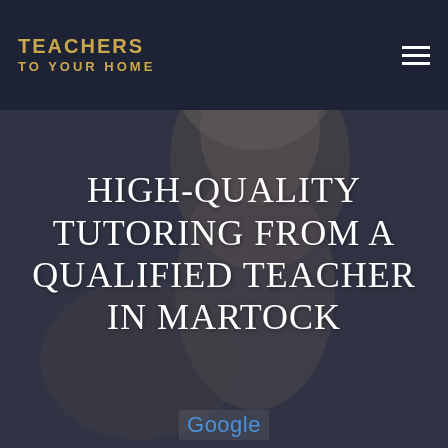TEACHERS TO YOUR HOME
[Figure (photo): Background photo of a woman looking sideways, with a dark navy/blue overlay tint covering the entire hero area]
HIGH-QUALITY TUTORING FROM A QUALIFIED TEACHER IN MARTOCK
Google